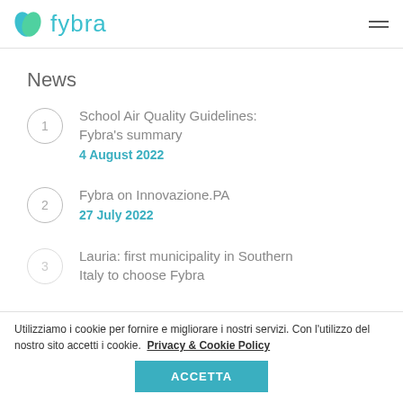fybra
News
School Air Quality Guidelines: Fybra's summary
4 August 2022
Fybra on Innovazione.PA
27 July 2022
Lauria: first municipality in Southern Italy to choose Fybra
Utilizziamo i cookie per fornire e migliorare i nostri servizi. Con l'utilizzo del nostro sito accetti i cookie. Privacy & Cookie Policy
ACCETTA